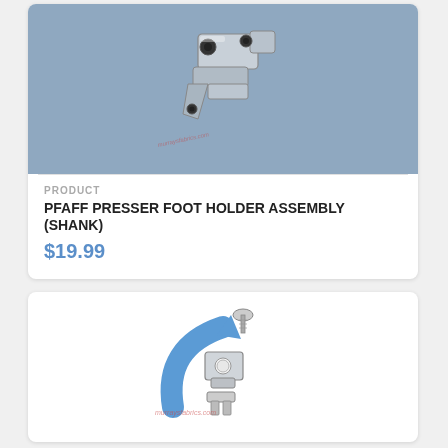[Figure (photo): Pfaff presser foot holder assembly (shank) product photo on blue-grey background]
PRODUCT
PFAFF PRESSER FOOT HOLDER ASSEMBLY (SHANK)
$19.99
[Figure (illustration): Diagram showing a presser foot/shank assembly with a blue arrow indicating rotation or installation, with watermark murraysfabrics.com]